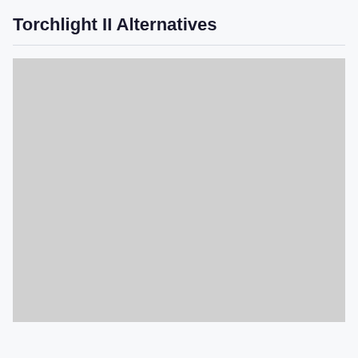Torchlight II Alternatives
[Figure (photo): Large light gray placeholder image area below the title and divider line]